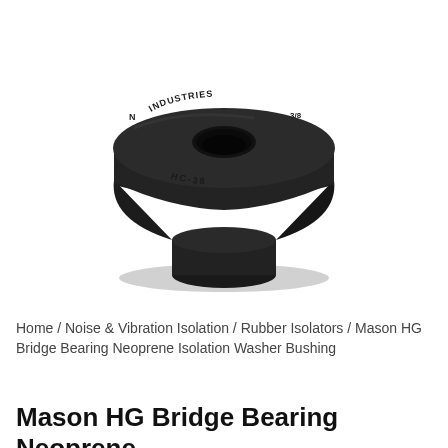[Figure (photo): A black neoprene bridge bearing isolation washer bushing (Mason HG series, model HC-38) shown from above at a slight angle. The circular disc-shaped component has raised text reading 'INDUSTRIES' and 'HC-38' on its top face, a central through-hole, and a smaller cylindrical base protrusion on the underside.]
Home / Noise & Vibration Isolation / Rubber Isolators / Mason HG Bridge Bearing Neoprene Isolation Washer Bushing
Mason HG Bridge Bearing Neoprene